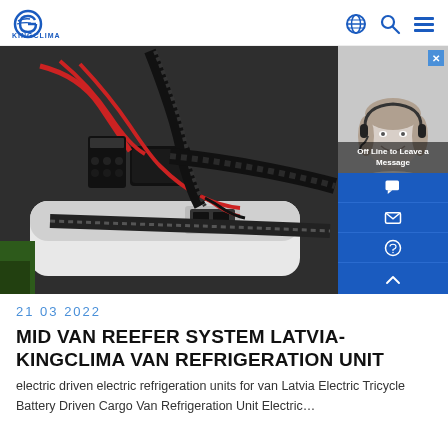KINGCLIMA
[Figure (photo): Photo of van refrigeration unit wiring and electrical components with black corrugated conduits, red and black wires, and a white enclosure panel. A chat widget overlay appears on the right side showing a woman with a headset (customer service agent) and 'Off Line to Leave a Message' text, along with contact icons.]
21 03 2022
MID VAN REEFER SYSTEM LATVIA-KINGCLIMA VAN REFRIGERATION UNIT
electric driven electric refrigeration units for van Latvia Electric Tricycle Battery Driven Cargo Van Refrigeration Unit Electric...